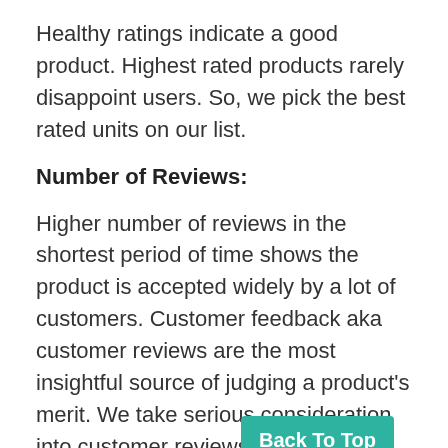Healthy ratings indicate a good product. Highest rated products rarely disappoint users. So, we pick the best rated units on our list.
Number of Reviews:
Higher number of reviews in the shortest period of time shows the product is accepted widely by a lot of customers. Customer feedback aka customer reviews are the most insightful source of judging a product's merit. We take serious consideration into customer reviews and total numbers while them.